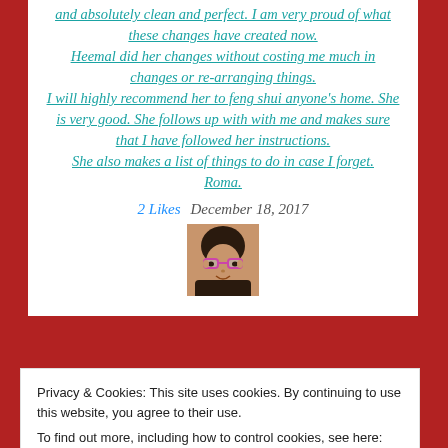and absolutely clean and perfect. I am very proud of what these changes have created now. Heemal did her changes without costing me much in changes or re-arranging things. I will highly recommend her to feng shui anyone's home. She is very good. She follows up with with me and makes sure that I have followed her instructions. She also makes a list of things to do in case I forget. Roma.
2 Likes   December 18, 2017
[Figure (photo): Profile photo of a woman with glasses]
Privacy & Cookies: This site uses cookies. By continuing to use this website, you agree to their use. To find out more, including how to control cookies, see here: Cookie Policy
Close and accept
are very happy with the results.